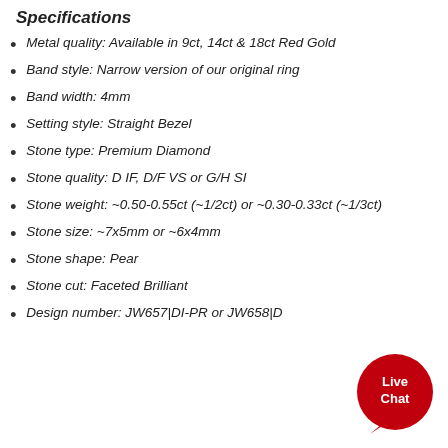Specifications
Metal quality: Available in 9ct, 14ct & 18ct Red Gold
Band style: Narrow version of our original ring
Band width: 4mm
Setting style: Straight Bezel
Stone type: Premium Diamond
Stone quality: D IF, D/F VS or G/H SI
Stone weight: ~0.50-0.55ct (~1/2ct) or ~0.30-0.33ct (~1/3ct)
Stone size: ~7x5mm or ~6x4mm
Stone shape: Pear
Stone cut: Faceted Brilliant
Design number: JW657|DI-PR or JW658|D…
[Figure (illustration): Red circular Live Chat button with speech bubble tail, white bold text reading 'Live Chat']